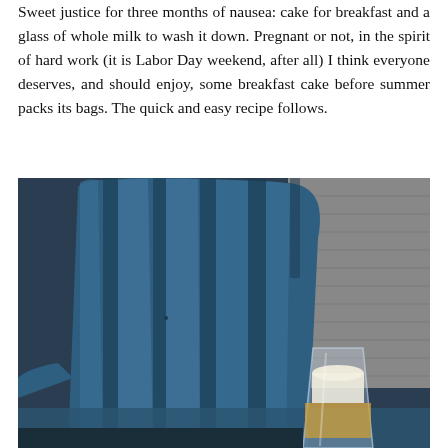Sweet justice for three months of nausea: cake for breakfast and a glass of whole milk to wash it down. Pregnant or not, in the spirit of hard work (it is Labor Day weekend, after all) I think everyone deserves, and should enjoy, some breakfast cake before summer packs its bags. The quick and easy recipe follows.
[Figure (photo): Photo of a blue Adirondack chair outdoors against grey siding, with a glass of whole milk visible in the lower right corner.]